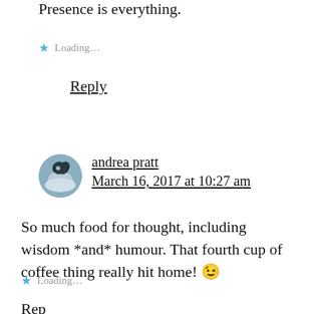Presence is everything.
★ Loading…
Reply
andrea pratt
March 16, 2017 at 10:27 am
So much food for thought, including wisdom *and* humour. That fourth cup of coffee thing really hit home! 😉
★ Loading…
Reply